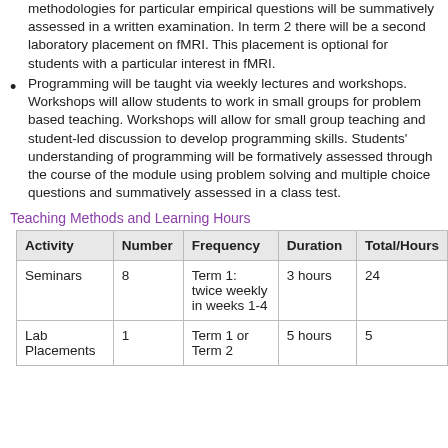understanding of the appropriateness of particular methodologies for particular empirical questions will be summatively assessed in a written examination. In term 2 there will be a second laboratory placement on fMRI. This placement is optional for students with a particular interest in fMRI.
Programming will be taught via weekly lectures and workshops. Workshops will allow students to work in small groups for problem based teaching. Workshops will allow for small group teaching and student-led discussion to develop programming skills. Students' understanding of programming will be formatively assessed through the course of the module using problem solving and multiple choice questions and summatively assessed in a class test.
Teaching Methods and Learning Hours
| Activity | Number | Frequency | Duration | Total/Hours |
| --- | --- | --- | --- | --- |
| Seminars | 8 | Term 1: twice weekly in weeks 1-4 | 3 hours | 24 |
| Lab Placements | 1 | Term 1 or Term 2 | 5 hours | 5 |